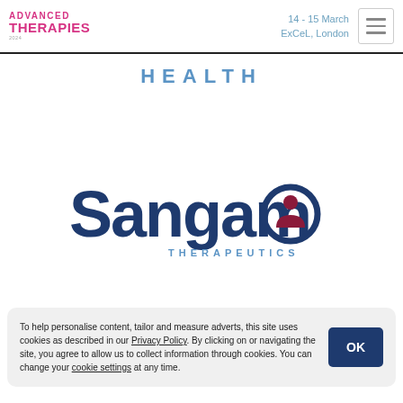ADVANCED THERAPIES | 14 - 15 March ExCeL, London
HEALTH
[Figure (logo): Sangamo Therapeutics logo — navy blue wordmark with person icon replacing the 'o', and 'THERAPEUTICS' in blue below]
To help personalise content, tailor and measure adverts, this site uses cookies as described in our Privacy Policy. By clicking on or navigating the site, you agree to allow us to collect information through cookies. You can change your cookie settings at any time.